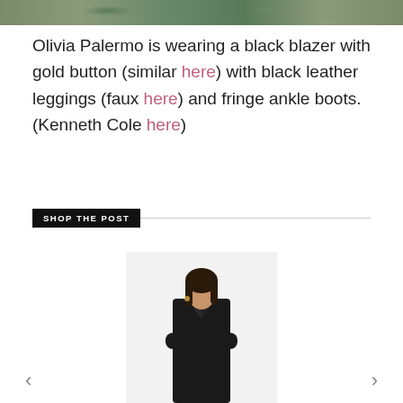[Figure (photo): Top portion of outdoor photo showing stone pavement with green moss/plants and what appears to be feet/boots at the top]
Olivia Palermo is wearing a black blazer with gold button (similar here) with black leather leggings (faux here) and fringe ankle boots. (Kenneth Cole here)
SHOP THE POST
[Figure (photo): Model wearing a long black blazer/coat with arms crossed, dark hair, standing against light background]